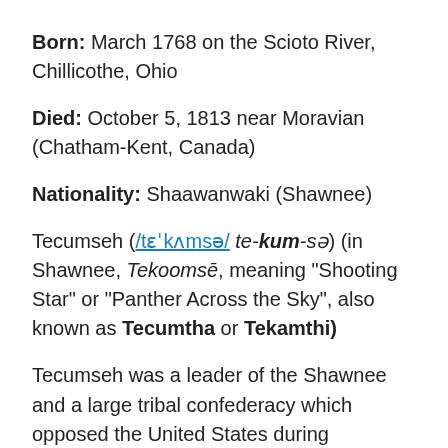Born: March 1768 on the Scioto River, Chillicothe, Ohio
Died: October 5, 1813 near Moravian (Chatham-Kent, Canada)
Nationality: Shaawanwaki (Shawnee)
Tecumseh (/tɛˈkʌmsə/ te-kum-sə) (in Shawnee, Tekoomsē, meaning "Shooting Star" or "Panther Across the Sky", also known as Tecumtha or Tekamthi)
Tecumseh was a leader of the Shawnee and a large tribal confederacy which opposed the United States during Tecumseh's War and became an ally of Britain in the War of 1812. He was considered a natural and charismatic leader and participated in numerous conflicts on the frontier. Growing up